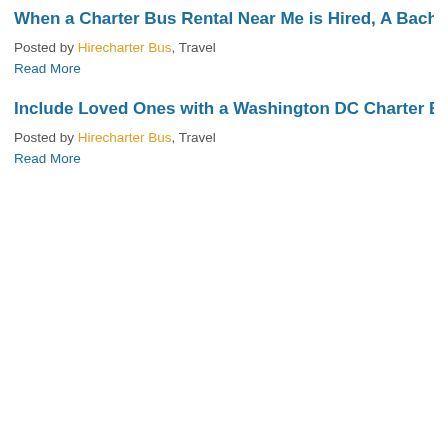When a Charter Bus Rental Near Me is Hired, A Bachelor Party W...
Posted by Hirecharter Bus, Travel
Read More
Include Loved Ones with a Washington DC Charter Bus on Your D...
Posted by Hirecharter Bus, Travel
Read More